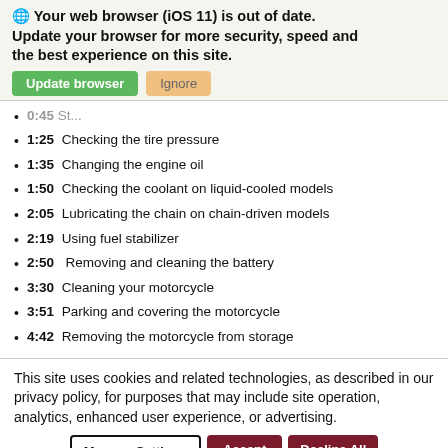Your web browser (iOS 11) is out of date. Update your browser for more security, speed and the best experience on this site.
Update browser | Ignore
0:45 St...
1:25 Checking the tire pressure
1:35 Changing the engine oil
1:50 Checking the coolant on liquid-cooled models
2:05 Lubricating the chain on chain-driven models
2:19 Using fuel stabilizer
2:50  Removing and cleaning the battery
3:30 Cleaning your motorcycle
3:51 Parking and covering the motorcycle
4:42 Removing the motorcycle from storage
This site uses cookies and related technologies, as described in our privacy policy, for purposes that may include site operation, analytics, enhanced user experience, or advertising.
Manage Settings | Accept | Decline All